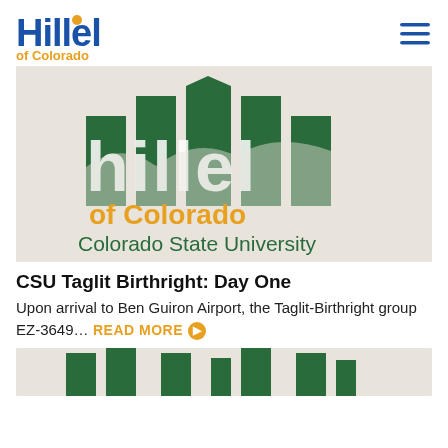[Figure (logo): Hillel of Colorado logo - blue bold text 'Hillel' with orange dot over second 'l', orange text 'of Colorado' below]
[Figure (logo): Hamburger menu icon - three horizontal blue lines]
[Figure (illustration): Large Hillel of Colorado banner image with green mountain-style Hillel logo, orange 'of Colorado' text, and green 'Colorado State University' text on beige background]
CSU Taglit Birthright: Day One
Upon arrival to Ben Guiron Airport, the Taglit-Birthright group EZ-3649...
[Figure (illustration): Partial bottom image showing green Hillel logo elements on beige background, cropped at bottom of page]